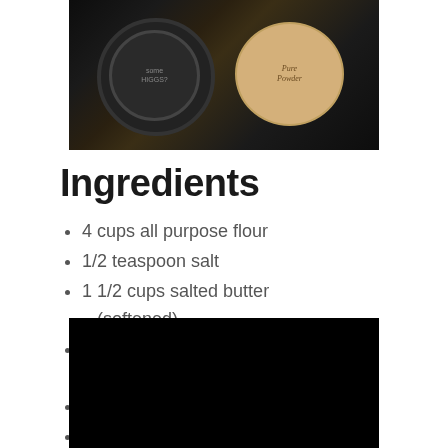[Figure (photo): Photo of decorated cookies on a dark background, showing stamped or embossed shortbread-style cookies]
Ingredients
4 cups all purpose flour
1/2 teaspoon salt
1 1/2 cups salted butter (softened)
1 1/2 cups granulated white sugar
2 large eggs
2 teaspoons vanilla
[Figure (photo): Dark/black photo at the bottom of the page, mostly black background, partially visible]